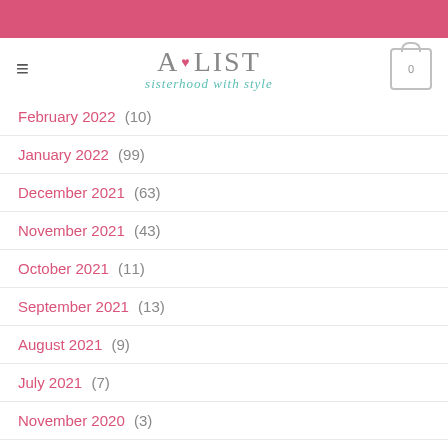A·LIST sisterhood with style — navigation header
February 2022 (10)
January 2022 (99)
December 2021 (63)
November 2021 (43)
October 2021 (11)
September 2021 (13)
August 2021 (9)
July 2021 (7)
November 2020 (3)
October 2020 (1)
September 2020 (2)
August 2020 (10)